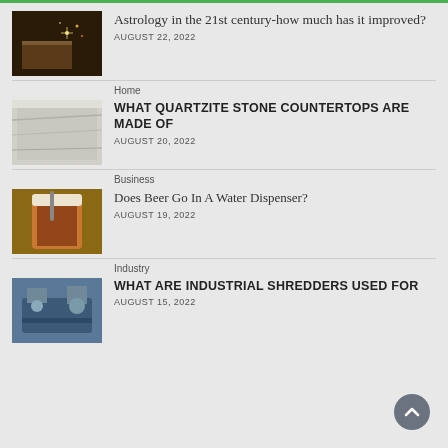[Figure (photo): Thumbnail image of a book with sparkles/light, related to astrology]
Astrology in the 21st century-how much has it improved?
AUGUST 22, 2022
Home
[Figure (photo): Thumbnail image of quartzite stone countertop surface]
WHAT QUARTZITE STONE COUNTERTOPS ARE MADE OF
AUGUST 20, 2022
Business
[Figure (photo): Thumbnail image of a cold beer or iced drink in a glass]
Does Beer Go In A Water Dispenser?
AUGUST 19, 2022
Industry
[Figure (photo): Thumbnail image of industrial shredder machinery]
WHAT ARE INDUSTRIAL SHREDDERS USED FOR
AUGUST 15, 2022